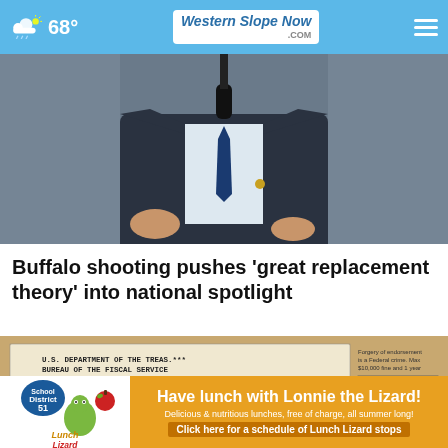Western Slope Now .com — 68°
[Figure (photo): Person in dark suit with blue tie gesturing at a microphone, upper body visible]
Buffalo shooting pushes 'great replacement theory' into national spotlight
[Figure (photo): Close-up of U.S. Treasury Department fiscal service check from Philadelphia PA with Kansas City routing numbers]
[Figure (infographic): Advertisement: School District 51 Lunch Lizard — Have lunch with Lonnie the Lizard! Delicious & nutritious lunches, free of charge, all summer long! Click here for a schedule of Lunch Lizard stops]